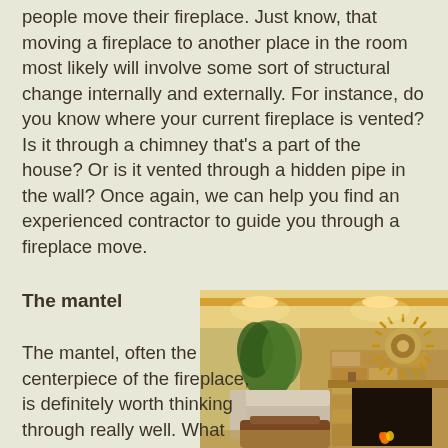people move their fireplace. Just know, that moving a fireplace to another place in the room most likely will involve some sort of structural change internally and externally. For instance, do you know where your current fireplace is vented? Is it through a chimney that's a part of the house? Or is it vented through a hidden pipe in the wall? Once again, we can help you find an experienced contractor to guide you through a fireplace move.
The mantel
[Figure (photo): Interior room photo showing a fireplace with stone surround, a decorative sunburst mirror above, a tufted armchair, a leather ottoman, and a potted plant in a warmly lit living room.]
The mantel, often the centerpiece of the fireplace, is definitely worth thinking through really well. What do you want it to look like? As with surrounding materials, you'll have a